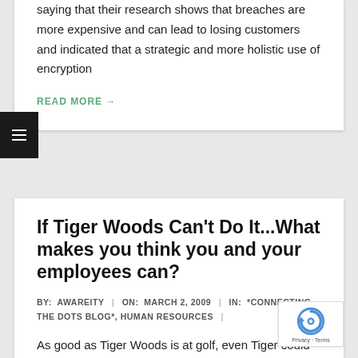saying that their research shows that breaches are more expensive and can lead to losing customers and indicated that a strategic and more holistic use of encryption
READ MORE →
If Tiger Woods Can't Do It...What makes you think you and your employees can?
BY: AWAREITY | ON: MARCH 2, 2009 | IN: *CONNECTING THE DOTS BLOG*, HUMAN RESOURCES |
As good as Tiger Woods is at golf, even Tiger could not